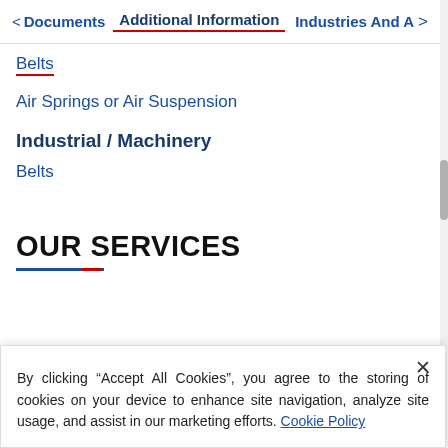< Documents   Additional Information   Industries And A  >
Belts
Air Springs or Air Suspension
Industrial / Machinery
Belts
OUR SERVICES
By clicking “Accept All Cookies”, you agree to the storing of cookies on your device to enhance site navigation, analyze site usage, and assist in our marketing efforts. Cookie Policy